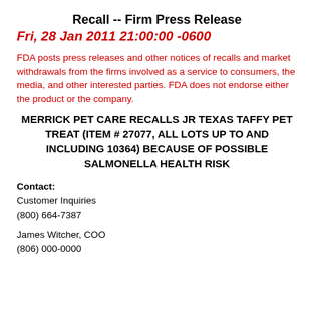Recall -- Firm Press Release
Fri, 28 Jan 2011 21:00:00 -0600
FDA posts press releases and other notices of recalls and market withdrawals from the firms involved as a service to consumers, the media, and other interested parties. FDA does not endorse either the product or the company.
MERRICK PET CARE RECALLS JR TEXAS TAFFY PET TREAT (ITEM # 27077, ALL LOTS UP TO AND INCLUDING 10364) BECAUSE OF POSSIBLE SALMONELLA HEALTH RISK
Contact:
Customer Inquiries
(800) 664-7387
James Witcher, COO
(806) 000-0000